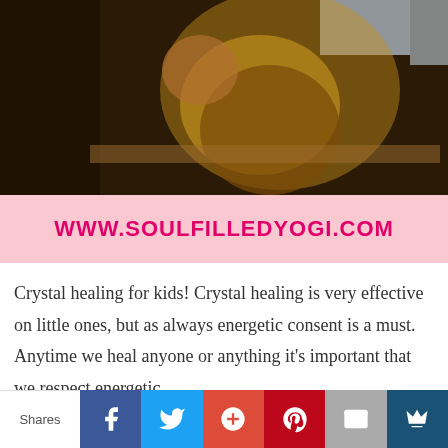[Figure (photo): A child/person seen from behind wearing a yellow top, standing at a window ledge in warm indoor lighting]
WWW.SOULFILLEDYOGI.COM
Crystal healing for kids! Crystal healing is very effective on little ones, but as always energetic consent is a must. Anytime we heal anyone or anything it's important that we respect energetic
Shares  [Facebook] [Twitter] [Google+] [Pinterest] [Email] [Crown]